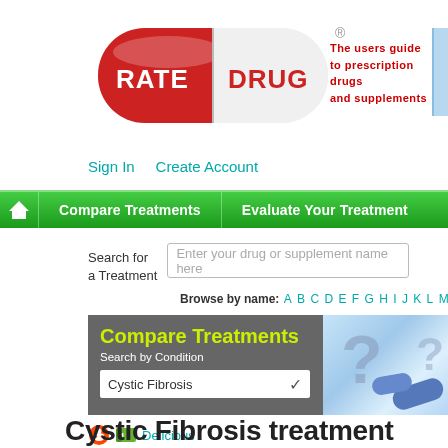[Figure (logo): Rate A Drug logo — red and white capsule pill with RATE A DRUG text]
The users guide to prescription drugs and supplements
Sign In    Create Account
Compare Treatments    Evaluate Your Treatment
Search for a Treatment   Enter your drug or supplement name here
Browse by name: A B C D E F G H I J K L M N O P Q
[Figure (screenshot): Compare Treatments section with dark grey background, yellow-green title 'Compare Treatments', 'Search by Condition' label, Cystic Fibrosis dropdown, and question mark pill imagery on the right]
[Figure (logo): Reddit alien logo icon and Delicious bookmark link]
Cystic Fibrosis treatment